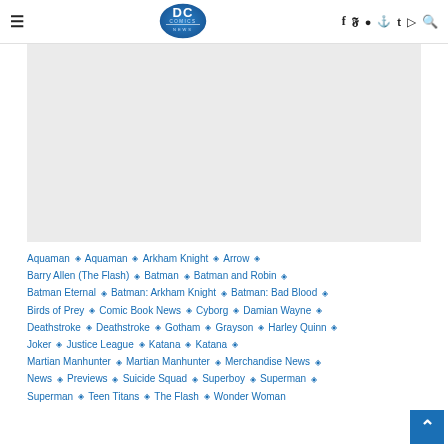DC Comics News — with social icons: f twitter instagram pinterest t youtube search
[Figure (other): Gray placeholder advertisement or image block]
Aquaman ◇ Aquaman ◇ Arkham Knight ◇ Arrow ◇ Barry Allen (The Flash) ◇ Batman ◇ Batman and Robin ◇ Batman Eternal ◇ Batman: Arkham Knight ◇ Batman: Bad Blood ◇ Birds of Prey ◇ Comic Book News ◇ Cyborg ◇ Damian Wayne ◇ Deathstroke ◇ Deathstroke ◇ Gotham ◇ Grayson ◇ Harley Quinn ◇ Joker ◇ Justice League ◇ Katana ◇ Katana ◇ Martian Manhunter ◇ Martian Manhunter ◇ Merchandise News ◇ News ◇ Previews ◇ Suicide Squad ◇ Superboy ◇ Superman ◇ Superman ◇ Teen Titans ◇ The Flash ◇ Wonder Woman